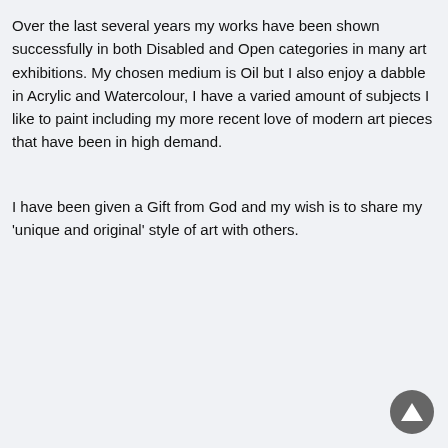Over the last several years my works have been shown successfully in both Disabled and Open categories in many art exhibitions. My chosen medium is Oil but I also enjoy a dabble in Acrylic and Watercolour, I have a varied amount of subjects I like to paint including my more recent love of modern art pieces that have been in high demand.
I have been given a Gift from God and my wish is to share my 'unique and original' style of art with others.